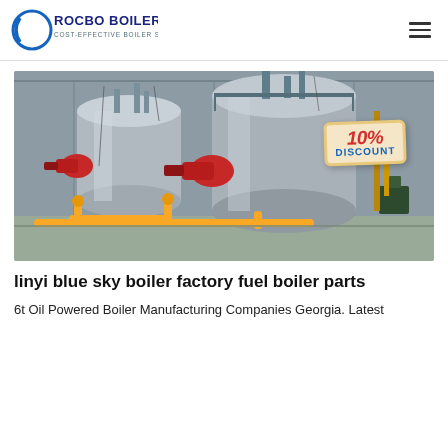ROCBO BOILER — COST-EFFECTIVE BOILER SUPPLIER
[Figure (photo): Industrial gas/oil fired fire-tube boilers inside a factory building. Two large cylindrical stainless steel boilers with red burners, yellow gas piping on the floor. A '10% DISCOUNT' badge is overlaid in the top-right area of the photo.]
linyi blue sky boiler factory fuel boiler parts
6t Oil Powered Boiler Manufacturing Companies Georgia. Latest